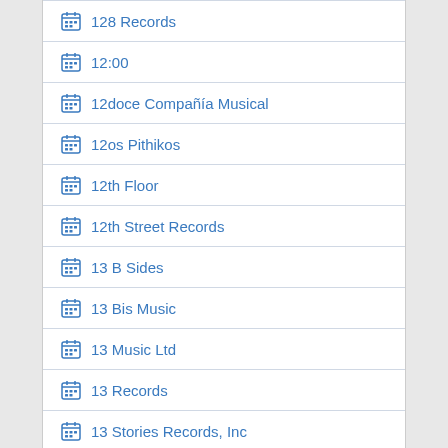128 Records
12:00
12doce Compañía Musical
12os Pithikos
12th Floor
12th Street Records
13 B Sides
13 Bis Music
13 Music Ltd
13 Records
13 Stories Records, Inc